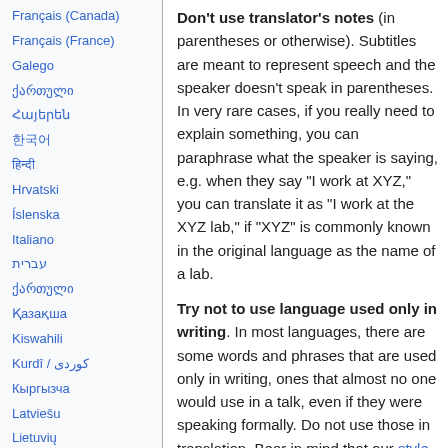Français (Canada)
Français (France)
Galego
ქართული
Հայերեն
한국어
हिन्दी
Hrvatski
Íslenska
Italiano
עברית
ქართული
Қазақша
Kiswahili
Kurdî / کوردی
Кыргызча
Latviešu
Lietuvių
Magyar
Македонски
Malagasy
मराठी
မြန်မာဘာသာ
Don't use translator's notes (in parentheses or otherwise). Subtitles are meant to represent speech and the speaker doesn't speak in parentheses. In very rare cases, if you really need to explain something, you can paraphrase what the speaker is saying, e.g. when they say "I work at XYZ," you can translate it as "I work at the XYZ lab," if "XYZ" is commonly known in the original language as the name of a lab.
Try not to use language used only in writing. In most languages, there are some words and phrases that are used only in writing, ones that almost no one would use in a talk, even if they were speaking formally. Do not use those in translation. Bear in mind that our style guidelines state that you should strive to emulate the speaker's style. Don't try